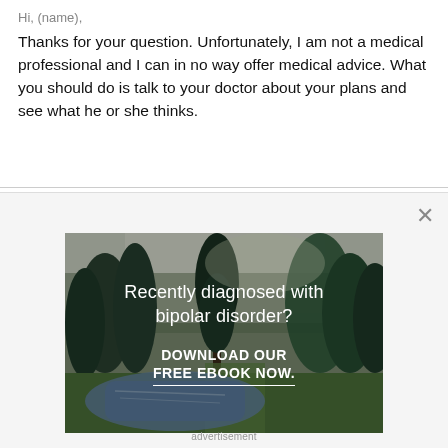Thanks for your question. Unfortunately, I am not a medical professional and I can in no way offer medical advice. What you should do is talk to your doctor about your plans and see what he or she thinks.
[Figure (illustration): Advertisement image showing a forest scene with trees and a stream. Text overlay reads 'Recently diagnosed with bipolar disorder? DOWNLOAD OUR FREE EBOOK NOW.']
advertisement